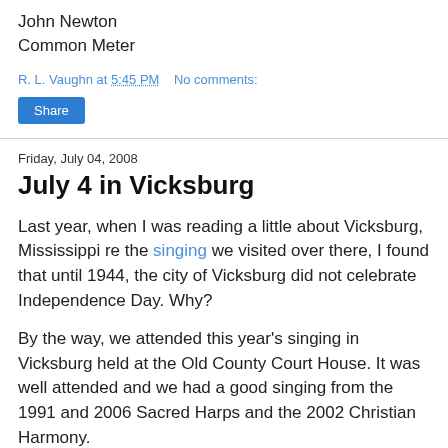John Newton
Common Meter
R. L. Vaughn at 5:45 PM    No comments:
Share
Friday, July 04, 2008
July 4 in Vicksburg
Last year, when I was reading a little about Vicksburg, Mississippi re the singing we visited over there, I found that until 1944, the city of Vicksburg did not celebrate Independence Day. Why?
By the way, we attended this year's singing in Vicksburg held at the Old County Court House. It was well attended and we had a good singing from the 1991 and 2006 Sacred Harps and the 2002 Christian Harmony.